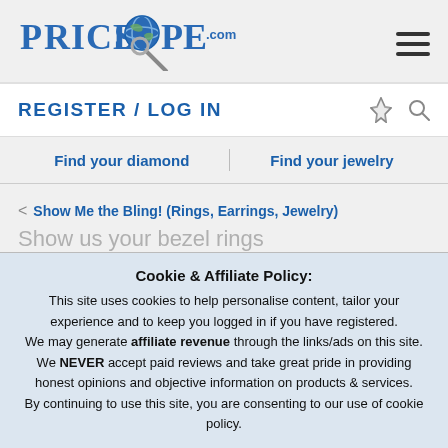[Figure (logo): PriceScope.com logo with globe and magnifying glass icon]
[Figure (other): Hamburger menu icon (three horizontal lines)]
REGISTER  /  LOG IN
[Figure (other): Lightning bolt and search/magnifying glass icons]
Find your diamond
Find your jewelry
< Show Me the Bling! (Rings, Earrings, Jewelry)
Show us your bezel rings
Cookie & Affiliate Policy:
This site uses cookies to help personalise content, tailor your experience and to keep you logged in if you have registered.
We may generate affiliate revenue through the links/ads on this site.
We NEVER accept paid reviews and take great pride in providing honest opinions and objective information on products & services.
By continuing to use this site, you are consenting to our use of cookie policy.
✓ Accept
Learn more...